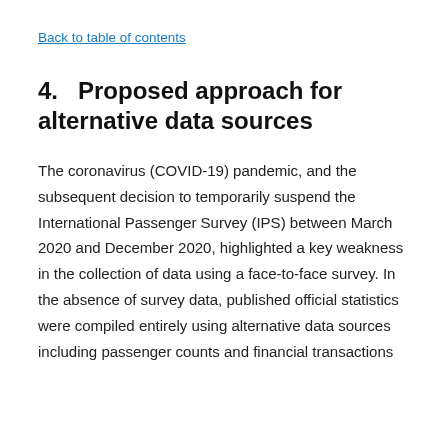Back to table of contents
4.   Proposed approach for alternative data sources
The coronavirus (COVID-19) pandemic, and the subsequent decision to temporarily suspend the International Passenger Survey (IPS) between March 2020 and December 2020, highlighted a key weakness in the collection of data using a face-to-face survey. In the absence of survey data, published official statistics were compiled entirely using alternative data sources including passenger counts and financial transactions